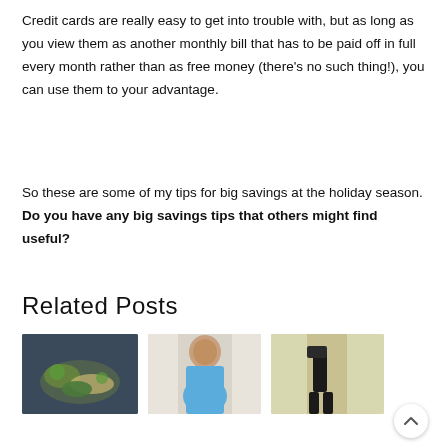Credit cards are really easy to get into trouble with, but as long as you view them as another monthly bill that has to be paid off in full every month rather than as free money (there's no such thing!), you can use them to your advantage.
So these are some of my tips for big savings at the holiday season. Do you have any big savings tips that others might find useful?
Related Posts
[Figure (photo): Photo of a food dish with pasta, broccoli, and greens on a blue plate]
[Figure (photo): Photo of a pregnant woman in a blue shirt smiling]
[Figure (photo): Photo of a person's torso and legs in black athletic wear against a light yellow background]